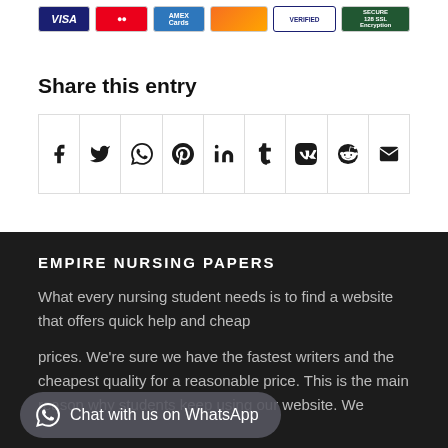[Figure (other): Payment method icons: Visa, Mastercard, Amex, Discover, Verified, Secure 128-bit Encryption]
Share this entry
[Figure (other): Social sharing icon bar with icons for Facebook, Twitter, WhatsApp, Pinterest, LinkedIn, Tumblr, VK, Reddit, Email]
EMPIRE NURSING PAPERS
What every nursing student needs is to find a website that offers quick help and cheap
prices. We're sure we have the fastest writers and the cheapest quality for a reasonable price. This is the main reason why students keep using our website. We
[Figure (other): WhatsApp chat button with icon and text 'Chat with us on WhatsApp']